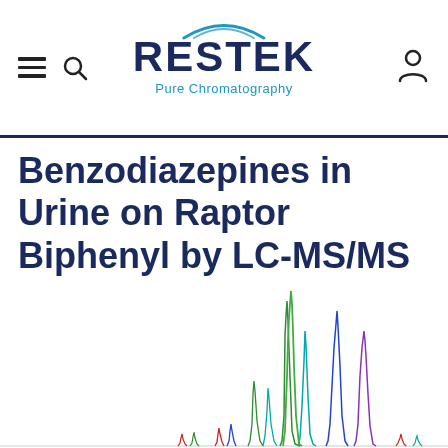RESTEK Pure Chromatography
Benzodiazepines in Urine on Raptor Biphenyl by LC-MS/MS
[Figure (continuous-plot): LC-MS/MS chromatogram showing multiple peaks of various heights and colors representing benzodiazepines separated on a Raptor Biphenyl column. Peaks of varying heights in green, teal, blue, red, and other colors visible across the time axis.]